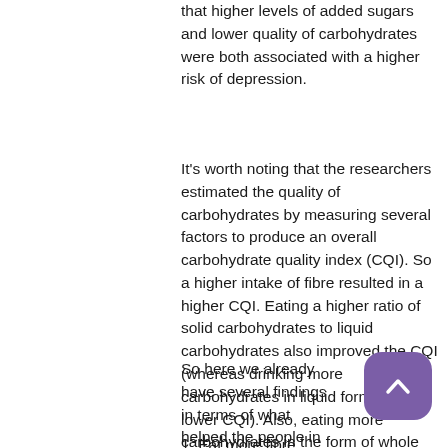that higher levels of added sugars and lower quality of carbohydrates were both associated with a higher risk of depression.
It's worth noting that the researchers estimated the quality of carbohydrates by measuring several factors to produce an overall carbohydrate quality index (CQI). So a higher intake of fibre resulted in a higher CQI. Eating a higher ratio of solid carbohydrates to liquid carbohydrates also improved the CQI (whereas drinking more carbohydrates in liquid form led to a lower CQI). Also, eating more carbohydrates in the form of whole grains also led to a higher CQI.
So here we already have several findings in terms of what helped the people in this study to have a better CQI score – and lower risk of depression:
1. Eat more fibre...